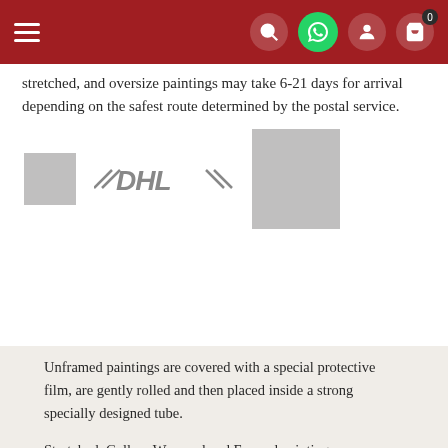Navigation bar with menu, search, WhatsApp, account, and cart (0) icons
stretched, and oversize paintings may take 6-21 days for arrival depending on the safest route determined by the postal service.
[Figure (logo): Three shipping carrier logos: a small grey square placeholder, DHL logo in grey italic text, and a larger grey square placeholder]
Unframed paintings are covered with a special protective film, are gently rolled and then placed inside a strong specially designed tube.
Stretched, Gallery Wrapped and Framed paintings are covered with protective bubble wrap, separated by foam board and then carefully put into the cardboard box.